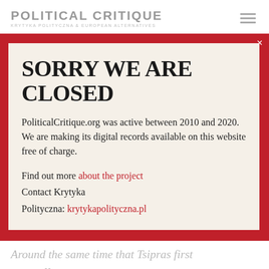POLITICAL CRITIQUE
KRYTYKA POLITYCZNA & EUROPEAN ALTERNATIVES
SORRY WE ARE CLOSED
PoliticalCritique.org was active between 2010 and 2020.  We are making its digital records available on this website free of charge.
Find out more about the project
Contact Krytyka Polityczna: krytykapolityczna.pl
Around the same time that Tsipras first took office, German newspaper Die Zeit